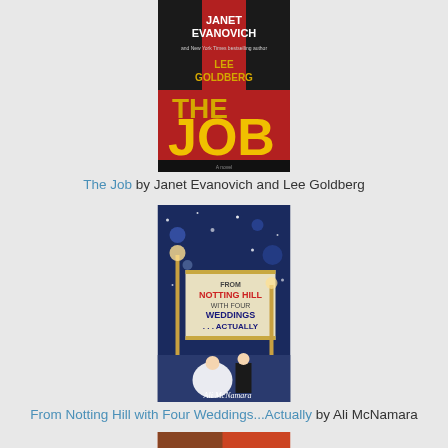[Figure (photo): Book cover of 'The Job' by Janet Evanovich and Lee Goldberg. Red and black cover with large stylized text.]
The Job by Janet Evanovich and Lee Goldberg
[Figure (photo): Book cover of 'From Notting Hill with Four Weddings...Actually' by Ali McNamara. Winter/snowy scene with a movie theater marquee sign.]
From Notting Hill with Four Weddings...Actually by Ali McNamara
[Figure (photo): Partial book cover visible at the bottom of the page.]